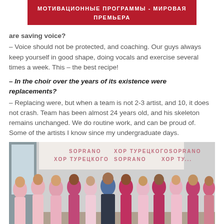МОТИВАЦИОННЫЕ ПРОГРАММЫ - МИРОВАЯ ПРЕМЬЕРА
are saving voice?
– Voice should not be protected, and coaching. Our guys always keep yourself in good shape, doing vocals and exercise several times a week. This – the best recipe!
– In the choir over the years of its existence were replacements?
– Replacing were, but when a team is not 2-3 artist, and 10, it does not crash. Team has been almost 24 years old, and his skeleton remains unchanged. We do routine work, and can be proud of. Some of the artists I know since my undergraduate days.
[Figure (photo): Group photo of a man in a dark suit surrounded by approximately 11 women in pink and fuchsia dresses, standing in front of a backdrop with SOPRANO and ХОР ТУРЕЦКОГО logos repeated.]